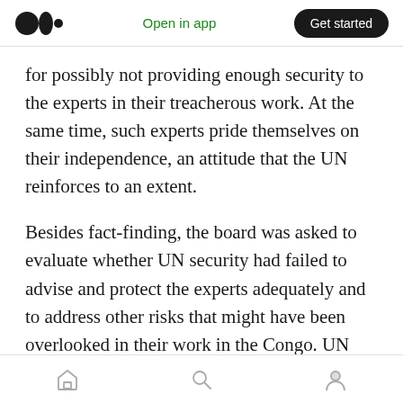Open in app | Get started
for possibly not providing enough security to the experts in their treacherous work. At the same time, such experts pride themselves on their independence, an attitude that the UN reinforces to an extent.
Besides fact-finding, the board was asked to evaluate whether UN security had failed to advise and protect the experts adequately and to address other risks that might have been overlooked in their work in the Congo. UN security protocols, for example, prohibit the use of motorcycle taxis, which the experts traveled
Home | Search | Profile